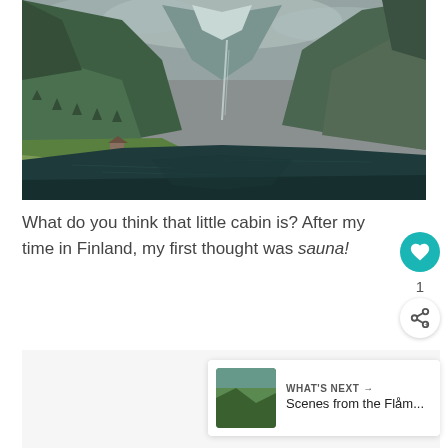[Figure (photo): Fjord landscape photo with steep green mountains on both sides, calm dark water in the foreground, a small cabin/building on the left shore, and cloudy sky with a glimpse of a waterfall in the background.]
What do you think that little cabin is? After my time in Finland, my first thought was sauna!
[Figure (screenshot): A 'WHAT'S NEXT' navigation preview card showing a thumbnail of a green landscape and the text 'Scenes from the Flåm...']